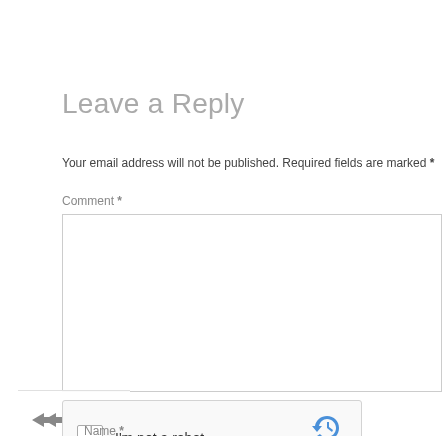Leave a Reply
Your email address will not be published. Required fields are marked *
Comment *
[Figure (screenshot): reCAPTCHA widget with checkbox labeled 'I'm not a robot' and reCAPTCHA logo with Privacy and Terms links]
Name *